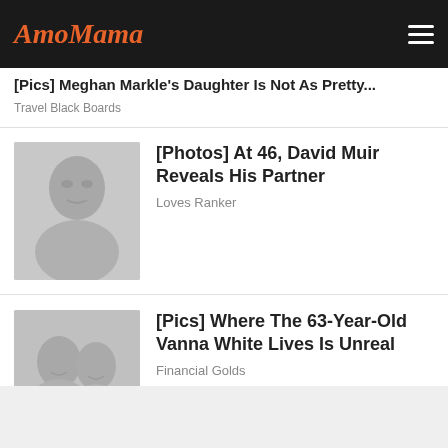AmoMama
[Pics] Meghan Markle's Daughter Is Not As Pretty...
Travel Black Boards
[Figure (photo): Photo of a man's face, grayscale thumbnail]
[Photos] At 46, David Muir Reveals His Partner
Loves Ranker
[Figure (photo): Photo of a couple smiling, grayscale thumbnail]
[Pics] Where The 63-Year-Old Vanna White Lives Is Unreal
Financial Golds